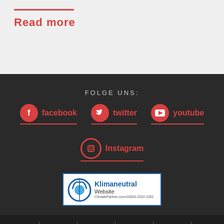Read more
FOLGE UNS:
facebook
twitter
youtube
Instagram
[Figure (logo): Klimaneutral Website ClimatePartner.com/16820-2202-1001 badge with circular logo]
Contact | facebook icon | twitter icon | mail icon | whatsapp icon | nation